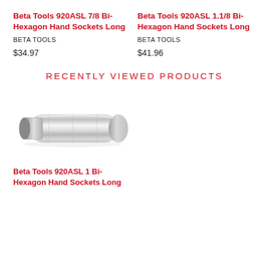Beta Tools 920ASL 7/8 Bi-Hexagon Hand Sockets Long
BETA TOOLS
$34.97
Beta Tools 920ASL 1.1/8 Bi-Hexagon Hand Sockets Long
BETA TOOLS
$41.96
RECENTLY VIEWED PRODUCTS
[Figure (photo): A chrome bi-hexagon hand socket, elongated cylindrical shape with 12-point drive end on left and rounded right end.]
Beta Tools 920ASL 1 Bi-Hexagon Hand Sockets Long